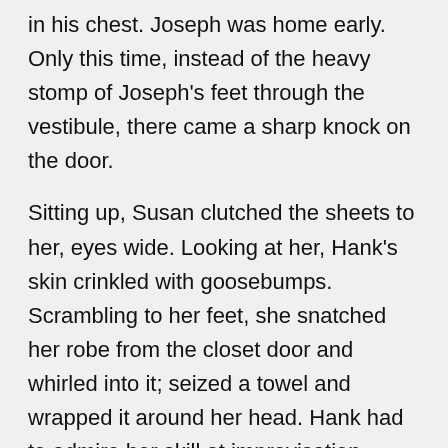in his chest. Joseph was home early. Only this time, instead of the heavy stomp of Joseph's feet through the vestibule, there came a sharp knock on the door.
Sitting up, Susan clutched the sheets to her, eyes wide. Looking at her, Hank's skin crinkled with goosebumps. Scrambling to her feet, she snatched her robe from the closet door and whirled into it; seized a towel and wrapped it around her head. Hank had to admire her skill at improvisation. What better way to explain being in a bathrobe in the middle of the day than to be showering off the dust and smell of the Pottery?
Hank knew better than to follow but as she disappeared through the door he started to get dressed, pulling on slacks and shirt, running a comb through his unruly black hair, tying his shoes, listening